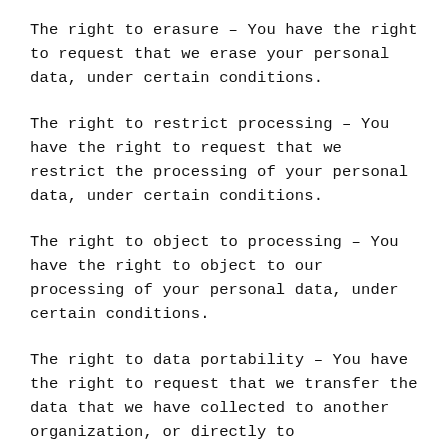The right to erasure – You have the right to request that we erase your personal data, under certain conditions.
The right to restrict processing – You have the right to request that we restrict the processing of your personal data, under certain conditions.
The right to object to processing – You have the right to object to our processing of your personal data, under certain conditions.
The right to data portability – You have the right to request that we transfer the data that we have collected to another organization, or directly to